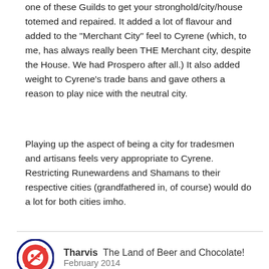one of these Guilds to get your stronghold/city/house totemed and repaired. It added a lot of flavour and added to the "Merchant City" feel to Cyrene (which, to me, has always really been THE Merchant city, despite the House. We had Prospero after all.) It also added weight to Cyrene's trade bans and gave others a reason to play nice with the neutral city.
Playing up the aspect of being a city for tradesmen and artisans feels very appropriate to Cyrene. Restricting Runewardens and Shamans to their respective cities (grandfathered in, of course) would do a lot for both cities imho.
Tharvis  The Land of Beer and Chocolate!
February 2014
Jhaeli said:
Once upon a time, before Autoclass, the Runewarden Guild and the Shaman Guild had monopoly on totems. While I am more familiar with it from the Runewarden POV, it essentially